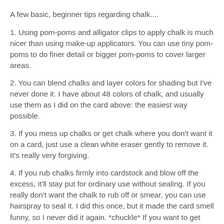A few basic, beginner tips regarding chalk....
1. Using pom-poms and alligator clips to apply chalk is much nicer than using make-up applicators. You can use tiny pom-poms to do finer detail or bigger pom-poms to cover larger areas.
2. You can blend chalks and layer colors for shading but I've never done it. I have about 48 colors of chalk, and usually use them as I did on the card above: the easiest way possible.
3. If you mess up chalks or get chalk where you don't want it on a card, just use a clean white eraser gently to remove it. It's really very forgiving.
4. If you rub chalks firmly into cardstock and blow off the excess, it'll stay put for ordinary use without sealing. If you really don't want the chalk to rub off or smear, you can use hairspray to seal it. I did this once, but it made the card smell funny, so I never did it again. *chuckle* If you want to get